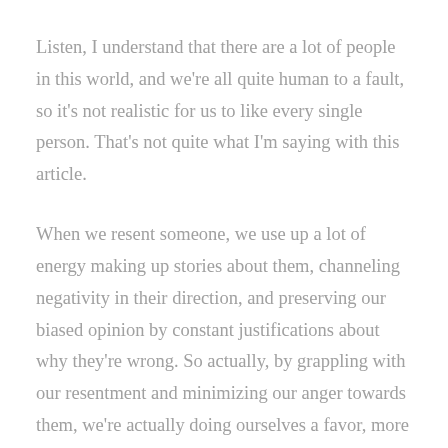Listen, I understand that there are a lot of people in this world, and we're all quite human to a fault, so it's not realistic for us to like every single person. That's not quite what I'm saying with this article.
When we resent someone, we use up a lot of energy making up stories about them, channeling negativity in their direction, and preserving our biased opinion by constant justifications about why they're wrong. So actually, by grappling with our resentment and minimizing our anger towards them, we're actually doing ourselves a favor, more than